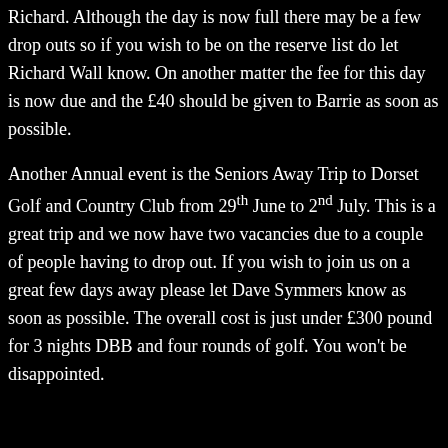Richard. Although the day is now full there may be a few drop outs so if you wish to be on the reserve list do let Richard Wall know. On another matter the fee for this day is now due and the £40 should be given to Barrie as soon as possible.
Another Annual event is the Seniors Away Trip to Dorset Golf and Country Club from 29th June to 2nd July. This is a great trip and we now have two vacancies due to a couple of people having to drop out. If you wish to join us on a great few days away please let Dave Symmers know as soon as possible. The overall cost is just under £300 pound for 3 nights DBB and four rounds of golf. You won't be disappointed.